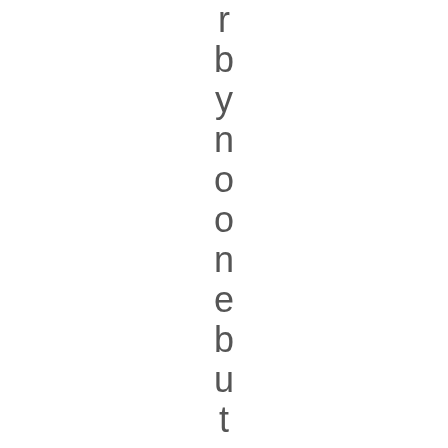r b y n o o n e b u t w h e r e t